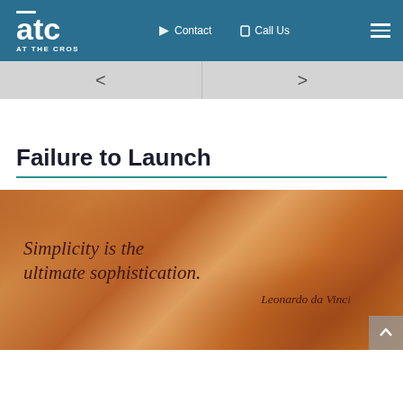ATC - AT THE CROSSROADS | Contact | Call Us
[Figure (screenshot): Navigation slider with left arrow and right arrow on gray background]
Failure to Launch
[Figure (illustration): Vintage parchment-style image with handwritten cursive quote: 'Simplicity is the ultimate sophistication.' - Leonardo da Vinci]